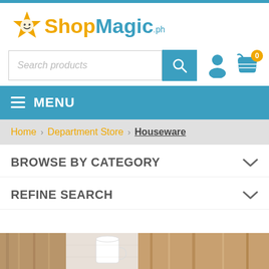[Figure (logo): ShopMagic.ph logo with yellow star mascot and blue/gold text]
[Figure (screenshot): Search bar with 'Search products' placeholder, blue search button with magnifying glass icon, user account icon, and shopping cart icon with 0 badge]
MENU
Home > Department Store > Houseware
BROWSE BY CATEGORY
REFINE SEARCH
[Figure (photo): Partial product image strip showing wooden textures and a white cup/mug on a light surface]